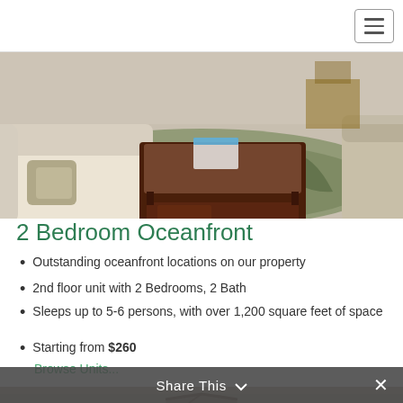[Figure (photo): Interior living room photo showing cream sofas, a dark wood coffee table with glass top, and a tropical-patterned rug]
2 Bedroom Oceanfront
Outstanding oceanfront locations on our property
2nd floor unit with 2 Bedrooms, 2 Bath
Sleeps up to 5-6 persons, with over 1,200 square feet of space
Starting from $260
Browse Units...
[Figure (photo): Partial view of another room interior, partially cut off at bottom of page]
Share This ∨  ×